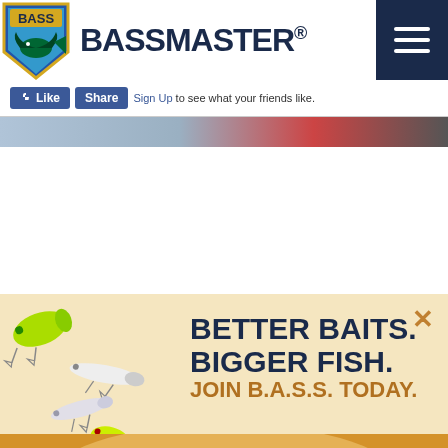[Figure (logo): BASS Bassmaster logo with shield and fish, plus hamburger menu icon on dark blue background]
Like  Share  Sign Up to see what your friends like.
[Figure (infographic): BASS membership advertisement: fishing lures illustration, text BETTER BAITS. BIGGER FISH. JOIN B.A.S.S. TODAY., email signup form with JOIN button, Privacy Policy link. Background graduates from cream to golden orange.]
Receive these free lures + more by signing up today!
Enter your email here.
JOIN!
Privacy Policy